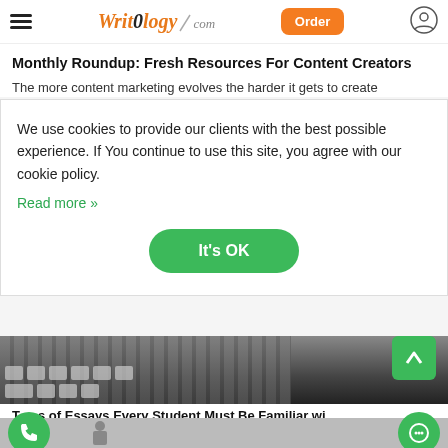WritOlogy.com — Order
Monthly Roundup: Fresh Resources For Content Creators
The more content marketing evolves the harder it gets to create
We use cookies to provide our clients with the best possible experience. If You continue to use this site, you agree with our cookie policy. Read more »
[Figure (screenshot): It's OK green button inside cookie consent modal]
[Figure (photo): Keyboard and desk photo strip]
Types of Essays Every Student Must Be Familiar wi…
Contents A Quick Guide to Types of Essays How to Write a Descriptive Essay How…
[Figure (photo): Bottom image strip showing person with briefcase]